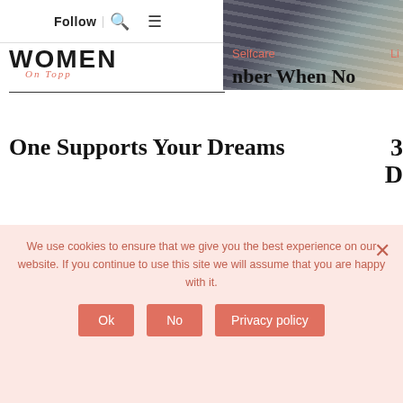Follow | [search icon] [menu icon]
[Figure (photo): Partial photo of a person in a striped jacket in the top right corner]
Women On Topp
Selfcare
Li
nber When No One Supports Your Dreams
3 D
You have a dream and it is something that you
A
are really passionate about—it will take you necessarily relentlessly to stay the best
Subscribe & Become Successful
receive our newsletters and updates by email
We use cookies to ensure that we give you the best experience on our website. If you continue to use this site we will assume that you are happy with it.
Ok
No
Privacy policy